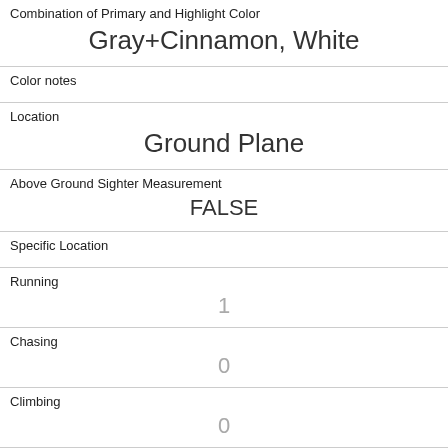| Combination of Primary and Highlight Color | Gray+Cinnamon, White |
| Color notes |  |
| Location | Ground Plane |
| Above Ground Sighter Measurement | FALSE |
| Specific Location |  |
| Running | 1 |
| Chasing | 0 |
| Climbing | 0 |
| Eating | 1 |
| Foraging | 0 |
| Other Activities |  |